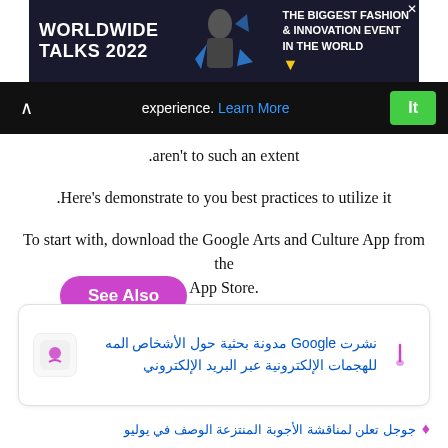[Figure (screenshot): Advertisement banner for Worldwide Talks 2022 — The Biggest Fashion & Innovation Event In The World]
[Figure (screenshot): Cookie consent bar with Learn More link and It button]
.aren't to such an extent
.Here's demonstrate to you best practices to utilize it
To start with, download the Google Arts and Culture App from the App Store.
.Here's the connection for iTunes in case you're on an iPhone
See Also
نشرت Google مدونة بحثية حول الأشخاص المه للهجمات الإلكترونية عبر البريد الإلكتروني
جوجل تعلن لمناقشة الأجوبة المنتزعة الوصف في يوليو